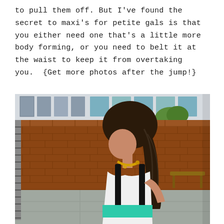to pull them off. But I've found the secret to maxi's for petite gals is that you either need one that's a little more body forming, or you need to belt it at the waist to keep it from overtaking you.  {Get more photos after the jump!}
[Figure (photo): Side profile photo of a woman with long dark hair wearing a white, black, and teal/mint color-block maxi dress with a gold necklace. She is outdoors in front of a red brick building with windows visible in the background and a concrete sidewalk below.]